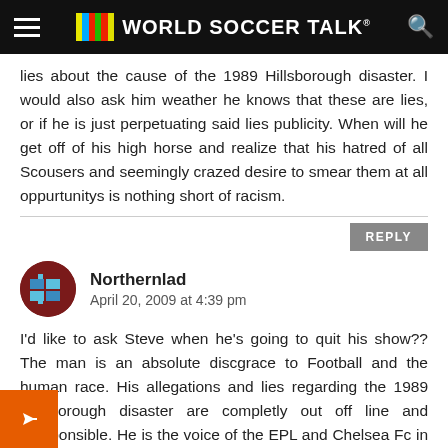World Soccer Talk
lies about the cause of the 1989 Hillsborough disaster. I would also ask him weather he knows that these are lies, or if he is just perpetuating said lies publicity. When will he get off of his high horse and realize that his hatred of all Scousers and seemingly crazed desire to smear them at all oppurtunitys is nothing short of racism.
Northernlad
April 20, 2009 at 4:39 pm
I'd like to ask Steve when he's going to quit his show?? The man is an absolute discgrace to Football and the human race. His allegations and lies regarding the 1989 Hillsborough disaster are completly out off line and irresponsible. He is the voice of the EPL and Chelsea Fc in North America, surely he ould be educating new and old soccer fans around the U.S. true Facts around the footballpig league and incidents